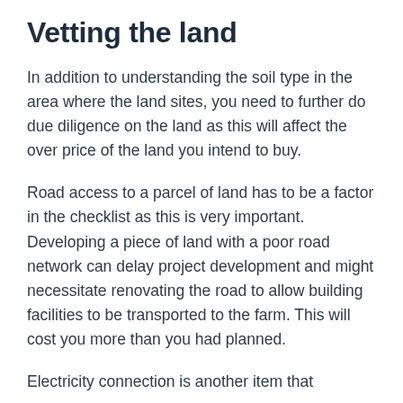Vetting the land
In addition to understanding the soil type in the area where the land sites, you need to further do due diligence on the land as this will affect the over price of the land you intend to buy.
Road access to a parcel of land has to be a factor in the checklist as this is very important. Developing a piece of land with a poor road network can delay project development and might necessitate renovating the road to allow building facilities to be transported to the farm. This will cost you more than you had planned.
Electricity connection is another item that